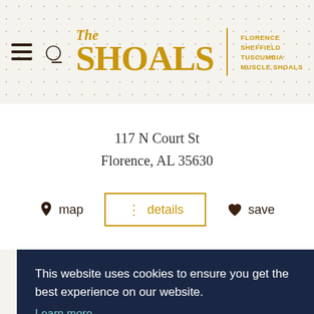[Figure (logo): The Shoals logo with hamburger menu and search icon, featuring stylized text 'The SHOALS' in gold with city names Florence, Sheffield, Tuscumbia, Muscle Shoals]
117 N Court St
Florence, AL 35630
map   ⋮ details   save
This website uses cookies to ensure you get the best experience on our website.
Learn more
Got it!